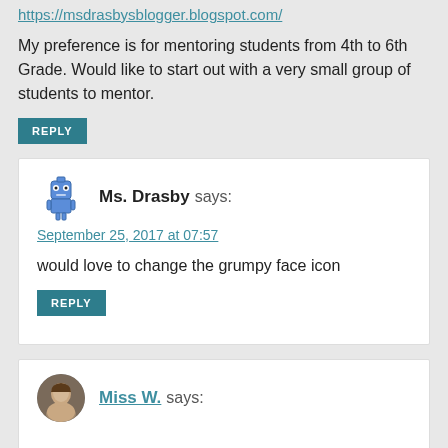https://msdrasbysblogger.blogspot.com/
My preference is for mentoring students from 4th to 6th Grade. Would like to start out with a very small group of students to mentor.
REPLY
Ms. Drasby says:
September 25, 2017 at 07:57
would love to change the grumpy face icon
REPLY
Miss W. says: